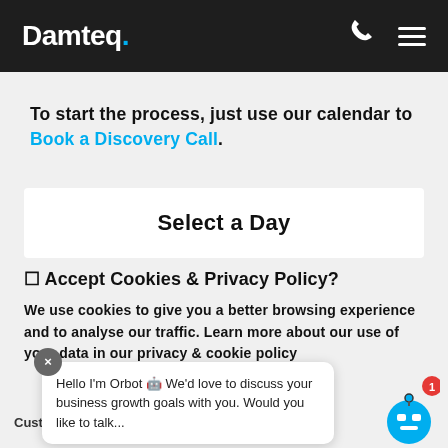Damteq.
To start the process, just use our calendar to Book a Discovery Call.
Select a Day
☐ Accept Cookies & Privacy Policy?
We use cookies to give you a better browsing experience and to analyse our traffic. Learn more about our use of your data in our privacy & cookie policy
Hello I'm Orbot 🤖 We'd love to discuss your business growth goals with you. Would you like to talk...
Customise